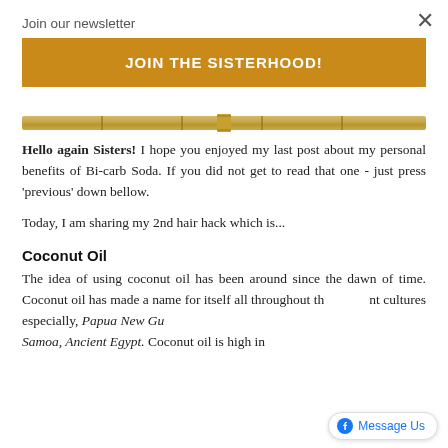Join our newsletter
×
JOIN THE SISTERHOOD!
[Figure (photo): Horizontal bamboo stick image used as a decorative divider]
Hello again Sisters! I hope you enjoyed my last post about my personal benefits of Bi-carb Soda. If you did not get to read that one - just press 'previous' down bellow.
Today, I am sharing my 2nd hair hack which is...
Coconut Oil
The idea of using coconut oil has been around since the dawn of time. Coconut oil has made a name for itself all throughout the different cultures especially, Papua New Guinea, India, Samoa, Ancient Egypt. Coconut oil is high in